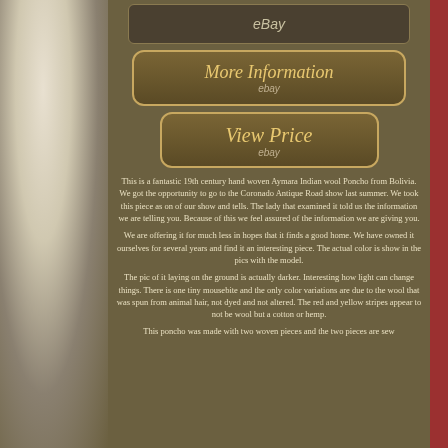[Figure (photo): eBay product listing page showing top product image with eBay watermark]
[Figure (screenshot): More Information button - eBay listing button with text 'More Information' and 'ebay' label]
[Figure (screenshot): View Price button - eBay listing button with text 'View Price' and 'ebay' label]
This is a fantastic 19th century hand woven Aymara Indian wool Poncho from Bolivia. We got the opportunity to go to the Coronado Antique Road show last summer. We took this piece as on of our show and tells. The lady that examined it told us the information we are telling you. Because of this we feel assured of the information we are giving you.
We are offering it for much less in hopes that it finds a good home. We have owned it ourselves for several years and find it an interesting piece. The actual color is show in the pics with the model.
The pic of it laying on the ground is actually darker. Interesting how light can change things. There is one tiny mousebite and the only color variations are due to the wool that was spun from animal hair, not dyed and not altered. The red and yellow stripes appear to not be wool but a cotton or hemp.
This poncho was made with two woven pieces and the two pieces are sew